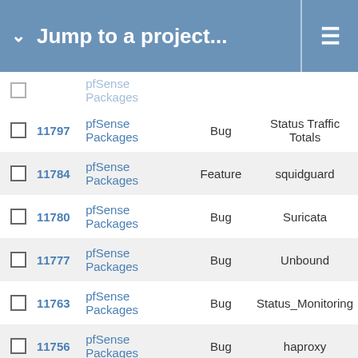Jump to a project...
|  | # | Project | Tracker | Subject |
| --- | --- | --- | --- | --- |
|  |  | pfSense Packages |  |  |
|  | 11797 | pfSense Packages | Bug | Status Traffic Totals |
|  | 11784 | pfSense Packages | Feature | squidguard |
|  | 11780 | pfSense Packages | Bug | Suricata |
|  | 11777 | pfSense Packages | Bug | Unbound |
|  | 11763 | pfSense Packages | Bug | Status_Monitoring |
|  | 11756 | pfSense Packages | Bug | haproxy |
|  | 11749 | pfSense Packages | Feature | pfBlockerNG |
|  | 11742 | pfSense Packages | Bug | Suricata |